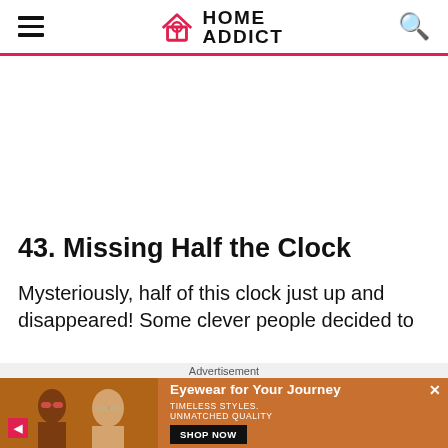HOME ADDICT
43. Missing Half the Clock
Mysteriously, half of this clock just up and disappeared! Some clever people decided to
[Figure (advertisement): Advertisement banner for eyewear with two women wearing sunglasses. Text reads: Eyewear for Your Journey. TIMELESS STYLES. UNMATCHED QUALITY. SHOP NOW button.]